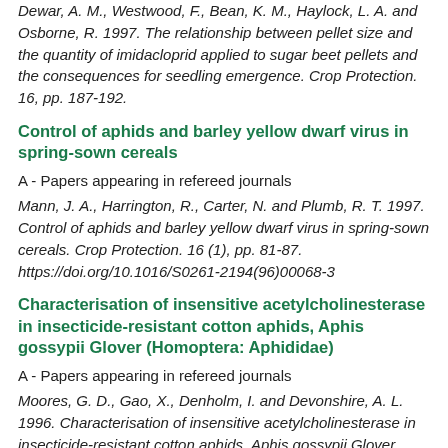Dewar, A. M., Westwood, F., Bean, K. M., Haylock, L. A. and Osborne, R. 1997. The relationship between pellet size and the quantity of imidacloprid applied to sugar beet pellets and the consequences for seedling emergence. Crop Protection. 16, pp. 187-192.
Control of aphids and barley yellow dwarf virus in spring-sown cereals
A - Papers appearing in refereed journals
Mann, J. A., Harrington, R., Carter, N. and Plumb, R. T. 1997. Control of aphids and barley yellow dwarf virus in spring-sown cereals. Crop Protection. 16 (1), pp. 81-87. https://doi.org/10.1016/S0261-2194(96)00068-3
Characterisation of insensitive acetylcholinesterase in insecticide-resistant cotton aphids, Aphis gossypii Glover (Homoptera: Aphididae)
A - Papers appearing in refereed journals
Moores, G. D., Gao, X., Denholm, I. and Devonshire, A. L. 1996. Characterisation of insensitive acetylcholinesterase in insecticide-resistant cotton aphids, Aphis gossypii Glover.